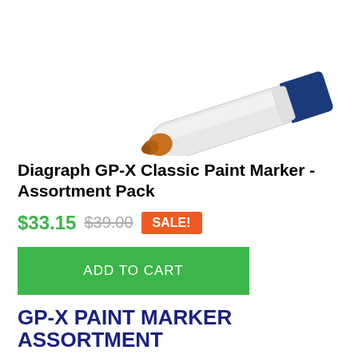[Figure (photo): A paint marker pen shown diagonally, with a white barrel, orange/brown tip on the left, and a dark blue cap/band on the right end.]
Diagraph GP-X Classic Paint Marker - Assortment Pack
$33.15 $39.00 SALE!
ADD TO CART
GP-X PAINT MARKER ASSORTMENT